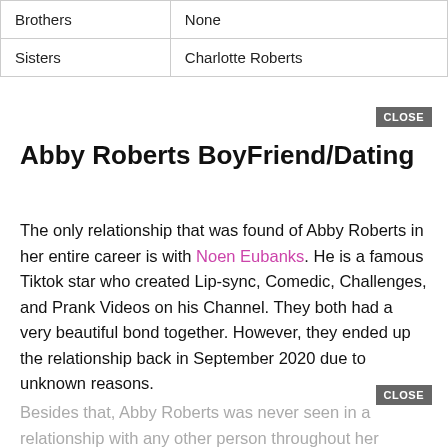| Brothers | None |
| Sisters | Charlotte Roberts |
Abby Roberts BoyFriend/Dating
The only relationship that was found of Abby Roberts in her entire career is with Noen Eubanks. He is a famous Tiktok star who created Lip-sync, Comedic, Challenges, and Prank Videos on his Channel. They both had a very beautiful bond together. However, they ended up the relationship back in September 2020 due to unknown reasons.
Besides that, Abby Roberts was never seen in a relationship with any other person throughout her